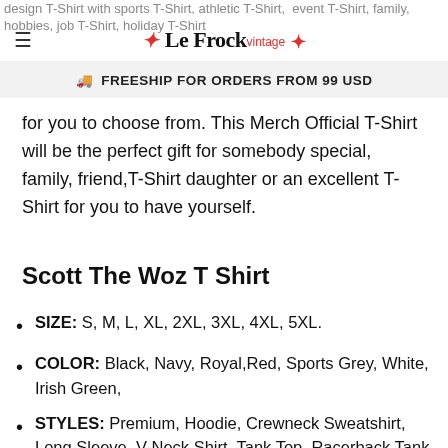design T-Shirt with sports T-Shirt, athletic T-Shirt, event T-Shirt, family, hobbies, job T-Shirt, holiday T-Shirt
≡  ❧ Le Frock vintage ❧
🚚 FREESHIP FOR ORDERS FROM 99 USD
for you to choose from. This Merch Official T-Shirt will be the perfect gift for somebody special, family, friend,T-Shirt daughter or an excellent T-Shirt for you to have yourself.
Scott The Woz T Shirt
SIZE: S, M, L, XL, 2XL, 3XL, 4XL, 5XL.
COLOR: Black, Navy, Royal,Red, Sports Grey, White, Irish Green,
STYLES: Premium, Hoodie, Crewneck Sweatshirt, Long Sleeve, V-Neck Shirt, Tank Top, Racerback Tank,